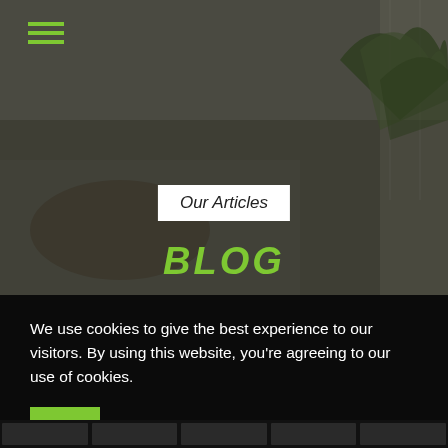[Figure (photo): Hero image of a person relaxing on a couch in a living room with a plant in the background, overlaid with dark tint]
≡ (hamburger menu icon)
Our Articles
BLOG
We use cookies to give the best experience to our visitors. By using this website, you're agreeing to our use of cookies.
ACCEPT